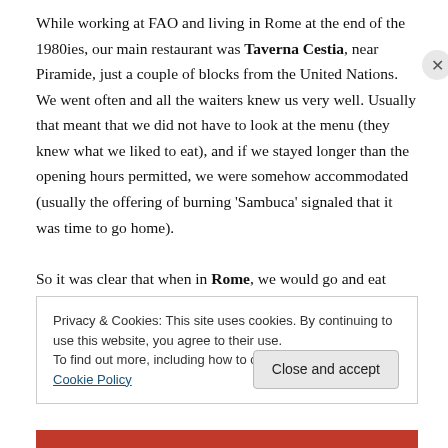While working at FAO and living in Rome at the end of the 1980ies, our main restaurant was Taverna Cestia, near Piramide, just a couple of blocks from the United Nations. We went often and all the waiters knew us very well. Usually that meant that we did not have to look at the menu (they knew what we liked to eat), and if we stayed longer than the opening hours permitted, we were somehow accommodated (usually the offering of burning 'Sambuca' signaled that it was time to go home).

So it was clear that when in Rome, we would go and eat
Privacy & Cookies: This site uses cookies. By continuing to use this website, you agree to their use.
To find out more, including how to control cookies, see here: Cookie Policy